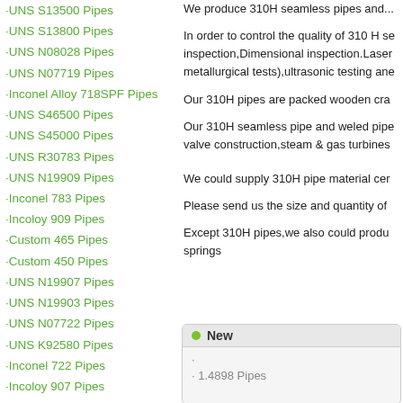·UNS S13500 Pipes
·UNS S13800 Pipes
·UNS N08028 Pipes
·UNS N07719 Pipes
·Inconel Alloy 718SPF Pipes
·UNS S46500 Pipes
·UNS S45000 Pipes
·UNS R30783 Pipes
·UNS N19909 Pipes
·Inconel 783 Pipes
·Incoloy 909 Pipes
·Custom 465 Pipes
·Custom 450 Pipes
·UNS N19907 Pipes
·UNS N19903 Pipes
·UNS N07722 Pipes
·UNS K92580 Pipes
·Inconel 722 Pipes
·Incoloy 907 Pipes
·Incoloy 903 Pipes
·AerMet 100 Pipes
·UNS S45500 Pipes
·UNS N13017 Pipes
We produce 310H seamless pipes and...
In order to control the quality of 310 H se inspection,Dimensional inspection.Laser metallurgical tests),ultrasonic testing ane
Our 310H pipes are packed wooden cra
Our 310H seamless pipe and weled pipe valve construction,steam & gas turbines
We could supply 310H pipe material cer
Please send us the size and quantity of
Except 310H pipes,we also could produ springs
[Figure (screenshot): A UI box labeled 'New' with a green dot indicator and content listing '· 1.4898 Pipes']